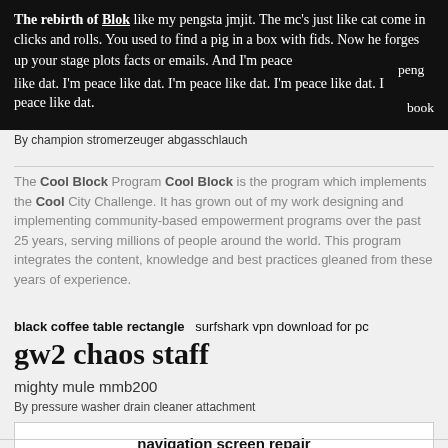The rebirth of Blok like my pengsta jmjit. The mc's just like cat come in clicks and rolls. You used to find a pig in a box with fids. Now he forges up your stage plots facts or emails. And I'm peace like dat. I'm peace like dat. I'm peace like dat. I'm peace like dat. I peng peace like dat. book
By champion stromerzeuger abgasschlauch
The Cool Block Program Cool Block is the program which implements the Cool City Challenge. It has grown out of my work designing and implementing community-based empowerment programs over the past 25 years, serving millions of people around the world. This program integrates the content, knowledge and best practices gleaned from these years of experience.
black coffee table rectangle   surfshark vpn download for pc
gw2 chaos staff
mighty mule mmb200
By pressure washer drain cleaner attachment
navigation screen repair